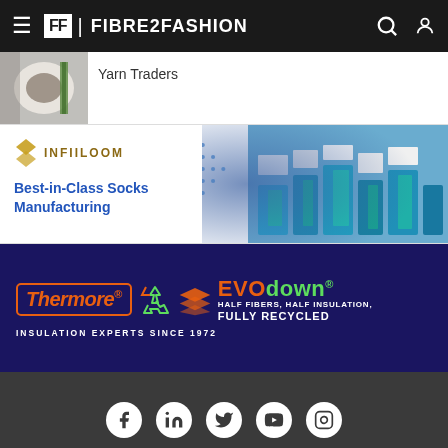FF | FIBRE2FASHION
Yarn Traders
[Figure (photo): Industrial yarn/textile machinery - large white roller]
[Figure (advertisement): Infiiloom - Best-in-Class Socks Manufacturing advertisement with machinery background]
[Figure (advertisement): Thermore - EVOdown - Insulation Experts Since 1972 - Half Fibers, Half Insulation, Fully Recycled]
© 2022 Fibre2Fashion.com